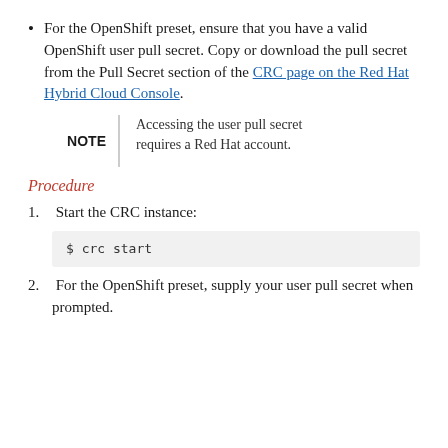For the OpenShift preset, ensure that you have a valid OpenShift user pull secret. Copy or download the pull secret from the Pull Secret section of the CRC page on the Red Hat Hybrid Cloud Console.
NOTE | Accessing the user pull secret requires a Red Hat account.
Procedure
1. Start the CRC instance:
$ crc start
2. For the OpenShift preset, supply your user pull secret when prompted.